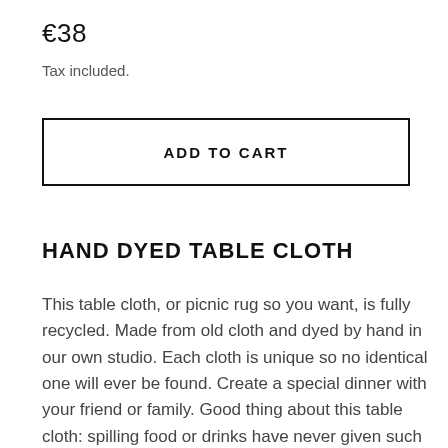€38
Tax included.
ADD TO CART
HAND DYED TABLE CLOTH
This table cloth, or picnic rug so you want, is fully recycled. Made from old cloth and dyed by hand in our own studio. Each cloth is unique so no identical one will ever be found. Create a special dinner with your friend or family. Good thing about this table cloth: spilling food or drinks have never given such an artistic result, never worry again about food stains that will never come off again. Of course you may also use it to decorate your wall.